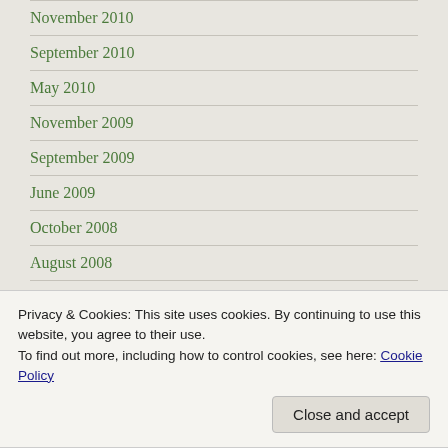November 2010
September 2010
May 2010
November 2009
September 2009
June 2009
October 2008
August 2008
March 2008
Privacy & Cookies: This site uses cookies. By continuing to use this website, you agree to their use.
To find out more, including how to control cookies, see here: Cookie Policy
Close and accept